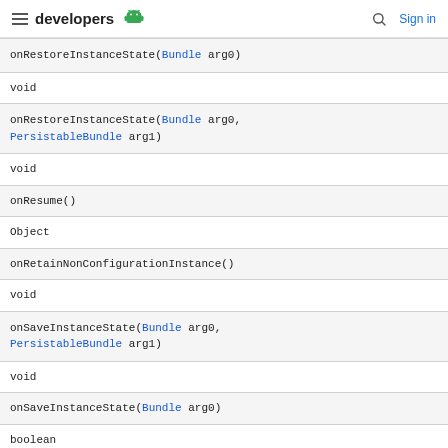developers
| onRestoreInstanceState(Bundle arg0) |
| void |
| onRestoreInstanceState(Bundle arg0, PersistableBundle arg1) |
| void |
| onResume() |
| Object |
| onRetainNonConfigurationInstance() |
| void |
| onSaveInstanceState(Bundle arg0, PersistableBundle arg1) |
| void |
| onSaveInstanceState(Bundle arg0) |
| boolean |